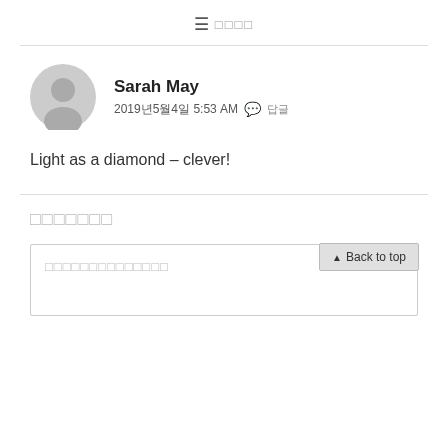≡ □□□□
Sarah May
2019년5월4일 5:53 AM  💬 답글
Light as a diamond – clever!
□□□□□□□
□□□□□□□□□□□□□□